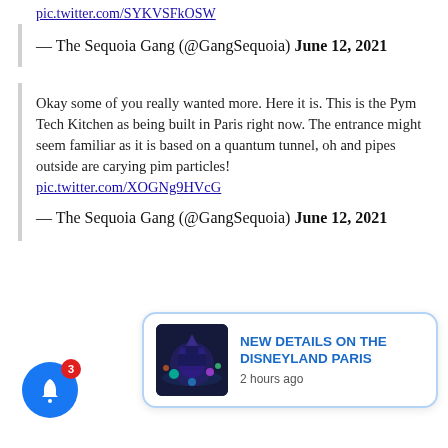pic.twitter.com/SYKVSFkOSW
— The Sequoia Gang (@GangSequoia) June 12, 2021
Okay some of you really wanted more. Here it is. This is the Pym Tech Kitchen as being built in Paris right now. The entrance might seem familiar as it is based on a quantum tunnel, oh and pipes outside are carying pim particles! pic.twitter.com/XOGNg9HVcG
— The Sequoia Gang (@GangSequoia) June 12, 2021
[Figure (screenshot): Notification popup with Disney castle image, title 'NEW DETAILS ON THE DISNEYLAND PARIS', timestamp '2 hours ago', and X close button. Blue bell icon with badge '3' in lower left.]